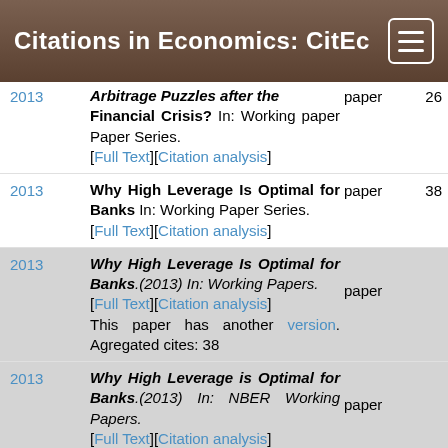Citations in Economics: CitEc
Arbitrage Puzzles after the Financial Crisis? In: Working paper Paper Series. [Full Text][Citation analysis]
Why High Leverage Is Optimal for Banks In: Working Paper Series. [Full Text][Citation analysis]
Why High Leverage Is Optimal for Banks.(2013) In: Working Papers. [Full Text][Citation analysis] This paper has another version. Agregated cites: 38
Why High Leverage is Optimal for Banks.(2013) In: NBER Working Papers. [Full Text][Citation analysis] This paper has another